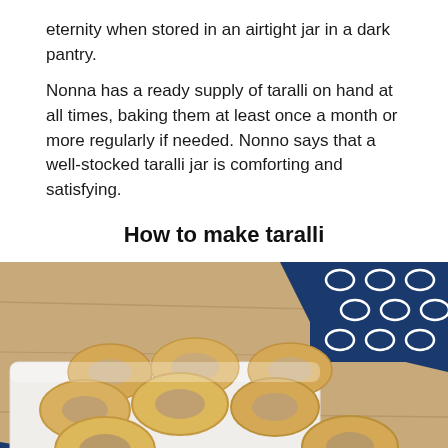eternity when stored in an airtight jar in a dark pantry.
Nonna has a ready supply of taralli on hand at all times, baking them at least once a month or more regularly if needed. Nonno says that a well-stocked taralli jar is comforting and satisfying.
How to make taralli
[Figure (photo): A pile of golden-brown taralli (ring-shaped Italian biscuits) stacked on a white surface with a blue and white patterned cloth/napkin in the background on a wooden surface.]